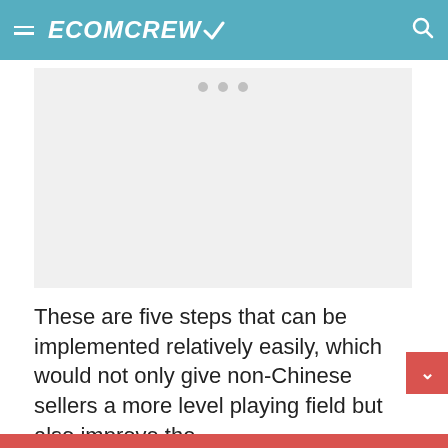ECOMCREW
[Figure (photo): Image placeholder with three dots indicating loading or slideshow navigation]
These are five steps that can be implemented relatively easily, which would not only give non-Chinese sellers a more level playing field but also improve the